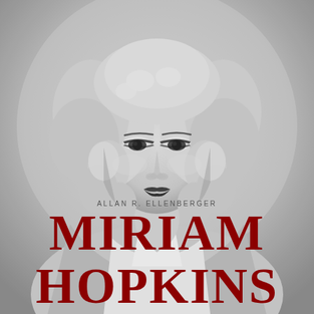[Figure (photo): Black and white glamour portrait photograph of Miriam Hopkins, a blonde woman with curly hair, dramatic eye makeup, looking slightly to the side with a serious expression, wearing a white top, classic Hollywood style photography]
ALLAN R. ELLENBERGER
MIRIAM HOPKINS